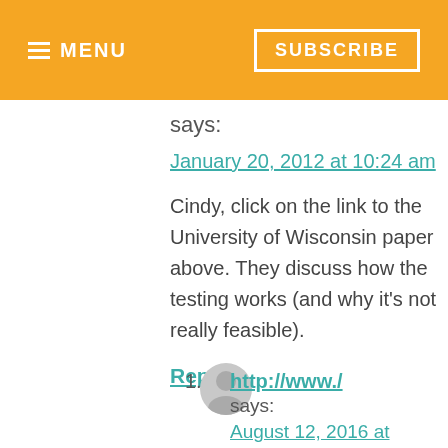≡ MENU   SUBSCRIBE
says:
January 20, 2012 at 10:24 am
Cindy, click on the link to the University of Wisconsin paper above. They discuss how the testing works (and why it's not really feasible).
Reply
1. http://www./
says:
August 12, 2016 at 12:52 am
Colourful candies in all